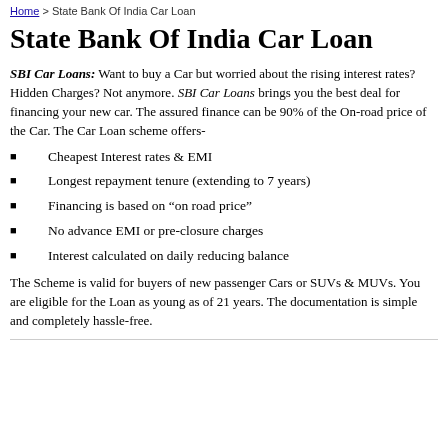Home > State Bank Of India Car Loan
State Bank Of India Car Loan
SBI Car Loans: Want to buy a Car but worried about the rising interest rates? Hidden Charges? Not anymore. SBI Car Loans brings you the best deal for financing your new car. The assured finance can be 90% of the On-road price of the Car. The Car Loan scheme offers-
Cheapest Interest rates & EMI
Longest repayment tenure (extending to 7 years)
Financing is based on “on road price”
No advance EMI or pre-closure charges
Interest calculated on daily reducing balance
The Scheme is valid for buyers of new passenger Cars or SUVs & MUVs. You are eligible for the Loan as young as of 21 years. The documentation is simple and completely hassle-free.